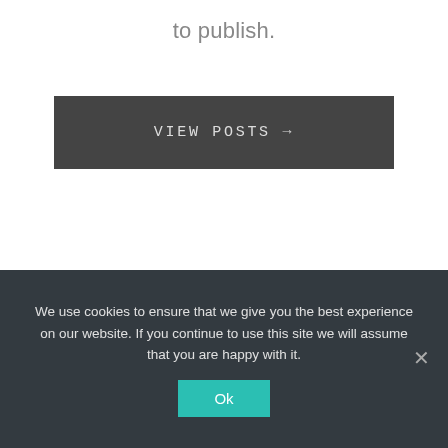to publish.
VIEW POSTS →
We use cookies to ensure that we give you the best experience on our website. If you continue to use this site we will assume that you are happy with it.
Ok